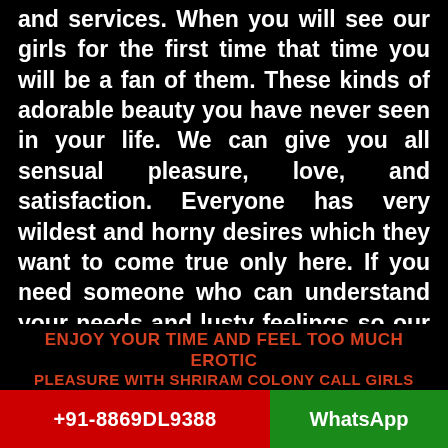and services. When you will see our girls for the first time that time you will be a fan of them. These kinds of adorable beauty you have never seen in your life. We can give you all sensual pleasure, love, and satisfaction. Everyone has very wildest and horny desires which they want to come true only here. If you need someone who can understand your needs and lusty feelings so our amazing escorts are always ready for you. Anytime you can come to our vert top-notch Shriram Colony Escorts Agency.
ENJOY YOUR TIME AND FEEL TOO MUCH EROTIC PLEASURE WITH SHRIRAM COLONY CALL GIRLS
+91-8869DL9388
WhatsApp